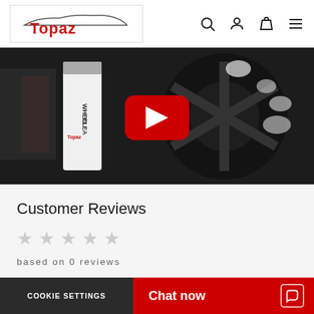[Figure (logo): Topaz car care brand logo with car silhouette outline and red Topaz text]
[Figure (screenshot): YouTube video thumbnail showing a hand cleaning a car wheel with Topaz Wheel Cleaner product, with a red YouTube play button overlay]
Customer Reviews
based on 0 reviews
[Figure (other): Write a Review orange button]
COOKIE SETTINGS
Chat now